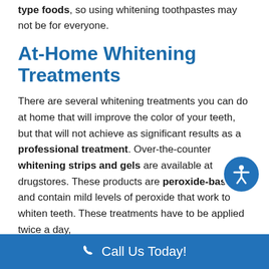type foods, so using whitening toothpastes may not be for everyone.
At-Home Whitening Treatments
There are several whitening treatments you can do at home that will improve the color of your teeth, but that will not achieve as significant results as a professional treatment. Over-the-counter whitening strips and gels are available at drugstores. These products are peroxide-based and contain mild levels of peroxide that work to whiten teeth. These treatments have to be applied twice a day,
Call Us Today!